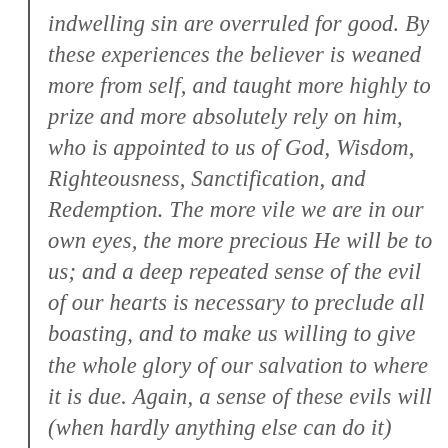indwelling sin are overruled for good. By these experiences the believer is weaned more from self, and taught more highly to prize and more absolutely rely on him, who is appointed to us of God, Wisdom, Righteousness, Sanctification, and Redemption. The more vile we are in our own eyes, the more precious He will be to us; and a deep repeated sense of the evil of our hearts is necessary to preclude all boasting, and to make us willing to give the whole glory of our salvation to where it is due. Again, a sense of these evils will (when hardly anything else can do it) reconcile us to